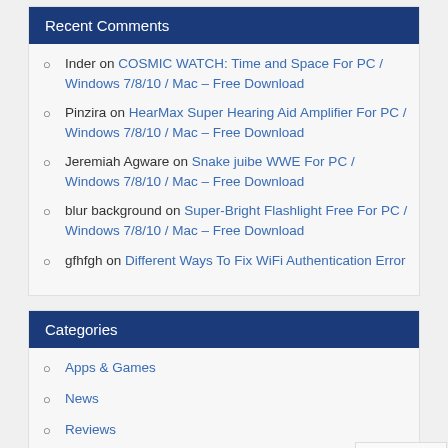Recent Comments
Inder on COSMIC WATCH: Time and Space For PC / Windows 7/8/10 / Mac – Free Download
Pinzira on HearMax Super Hearing Aid Amplifier For PC / Windows 7/8/10 / Mac – Free Download
Jeremiah Agware on Snake juibe WWE For PC / Windows 7/8/10 / Mac – Free Download
blur background on Super-Bright Flashlight Free For PC / Windows 7/8/10 / Mac – Free Download
gfhfgh on Different Ways To Fix WiFi Authentication Error
Categories
Apps & Games
News
Reviews
Tips & Tricks